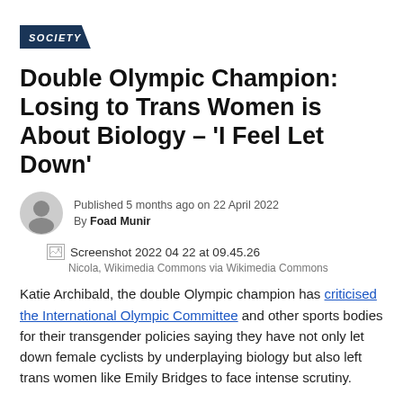SOCIETY
Double Olympic Champion: Losing to Trans Women is About Biology – 'I Feel Let Down'
Published 5 months ago on 22 April 2022
By Foad Munir
[Figure (screenshot): Screenshot 2022 04 22 at 09.45.26 — broken image placeholder with caption: Nicola, Wikimedia Commons via Wikimedia Commons]
Katie Archibald, the double Olympic champion has criticised the International Olympic Committee and other sports bodies for their transgender policies saying they have not only let down female cyclists by underplaying biology but also left trans women like Emily Bridges to face intense scrutiny.
"It is my opinion that the international governing bodies of sport have let down trans women athletes in...